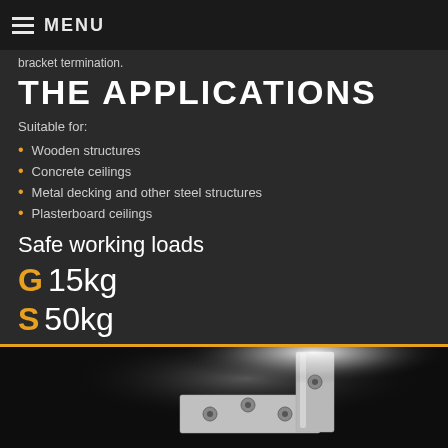MENU
bracket termination.
THE APPLICATIONS
Suitable for:
Wooden structures
Concrete ceilings
Metal decking and other steel structures
Plasterboard ceilings
Safe working loads
G 15kg
S 50kg
[Figure (photo): Close-up photo of a metal bracket/fixing component on a dark background with a light source illuminating the metallic surface]